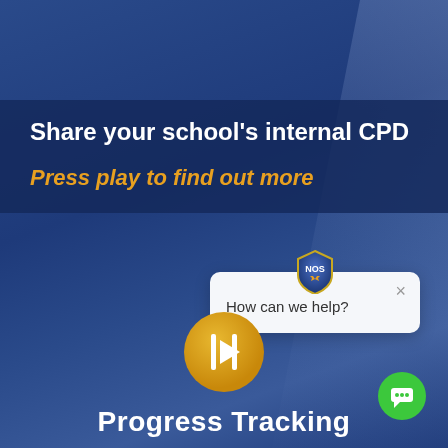Share your school's internal CPD
Press play to find out more
[Figure (screenshot): Chat widget with NOS shield badge showing 'How can we help?' message and a close button]
[Figure (logo): Gold circular play button icon]
Progress Tracking
[Figure (logo): Green circle chat icon in bottom right]